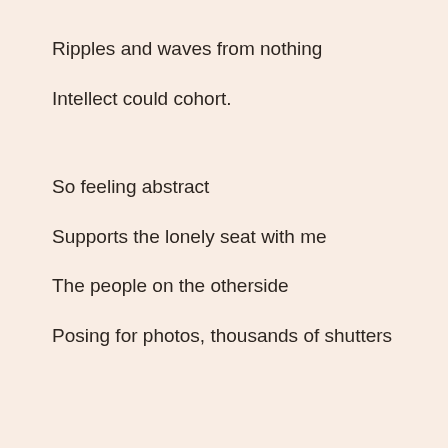Ripples and waves from nothing
Intellect could cohort.
So feeling abstract
Supports the lonely seat with me
The people on the otherside
Posing for photos, thousands of shutters